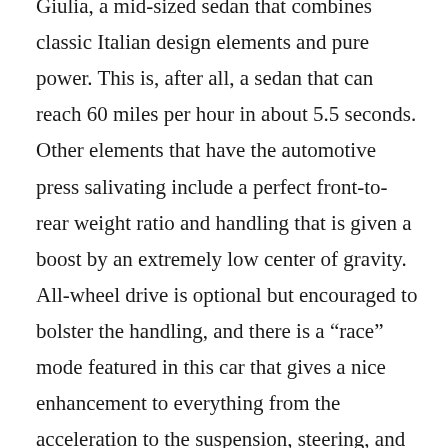Giulia, a mid-sized sedan that combines classic Italian design elements and pure power. This is, after all, a sedan that can reach 60 miles per hour in about 5.5 seconds. Other elements that have the automotive press salivating include a perfect front-to-rear weight ratio and handling that is given a boost by an extremely low center of gravity. All-wheel drive is optional but encouraged to bolster the handling, and there is a “race” mode featured in this car that gives a nice enhancement to everything from the acceleration to the suspension, steering, and braking. The driving experience of the Alfa Romeo Giulia is said to be second to none, and the luxury interior has leather with chrome finishes and state-of-the-art technology, including a world beating infotainment system. Our only question is: What are you waiting for?